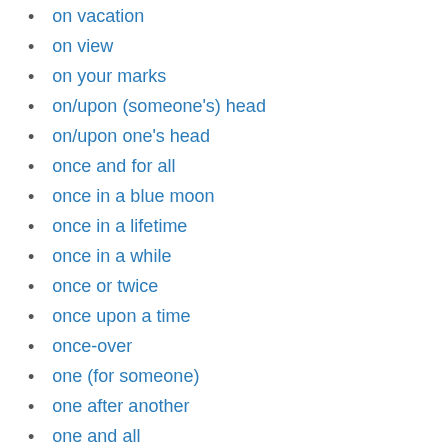on vacation
on view
on your marks
on/upon (someone's) head
on/upon one's head
once and for all
once in a blue moon
once in a lifetime
once in a while
once or twice
once upon a time
once-over
one (for someone)
one after another
one and all